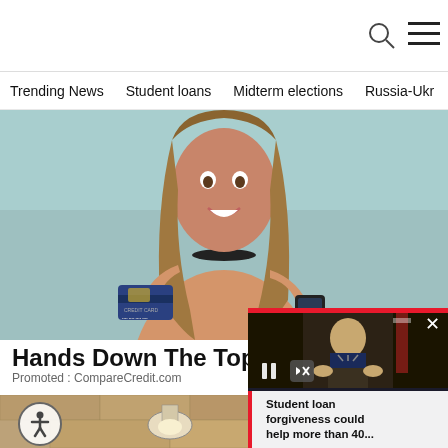[Figure (logo): AP (Associated Press) logo - bold AP text in black box with red underline accent]
Trending News   Student loans   Midterm elections   Russia-Ukr
[Figure (photo): Young woman smiling, holding a credit card and smartphone, against teal background]
Hands Down The Top Credit C
Promoted : CompareCredit.com
[Figure (photo): Exterior photo with outdoor light fixture on stone wall]
[Figure (screenshot): Video overlay showing man at podium (Biden), with red progress bar, pause and mute controls, and caption: Student loan forgiveness could help more than 40...]